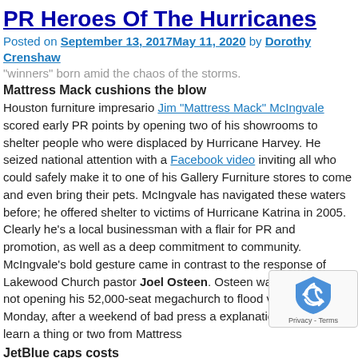PR Heroes Of The Hurricanes
Posted on September 13, 2017May 11, 2020 by Dorothy Crenshaw
"winners" born amid the chaos of the storms.
Mattress Mack cushions the blow
Houston furniture impresario Jim “Mattress Mack” McIngvale scored early PR points by opening two of his showrooms to shelter people who were displaced by Hurricane Harvey. He seized national attention with a Facebook video inviting all who could safely make it to one of his Gallery Furniture stores to come and even bring their pets. McIngvale has navigated these waters before; he offered shelter to victims of Hurricane Katrina in 2005. Clearly he’s a local businessman with a flair for PR and promotion, as well as a deep commitment to community. McIngvale’s bold gesture came in contrast to the response of Lakewood Church pastor Joel Osteen. Osteen was criticized for not opening his 52,000-seat megachurch to flood victims until Monday, after a weekend of bad press and explanations. He could learn a thing or two from Mattress
JetBlue caps costs
It is not stated directly at the bottom of the page, the text is cut off.